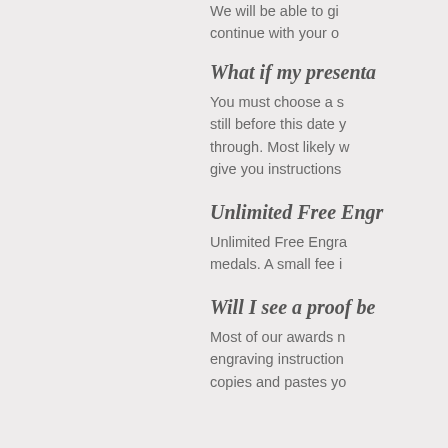We will be able to give... continue with your o...
What if my presenta...
You must choose a s... still before this date y... through. Most likely w... give you instructions...
Unlimited Free Engr...
Unlimited Free Engra... medals. A small fee i...
Will I see a proof be...
Most of our awards n... engraving instruction... copies and pastes yo...